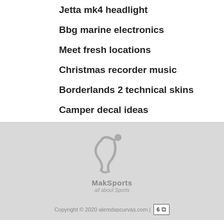Jetta mk4 headlight
Bbg marine electronics
Meet fresh locations
Christmas recorder music
Borderlands 2 technical skins
Camper decal ideas
[Figure (logo): MakSports all about Sports logo — stylized human figure in grey with curved lines, text 'MakSports' and 'all about Sports' below]
Copyright © 2020 alemdascurvas.com | 6 ↗